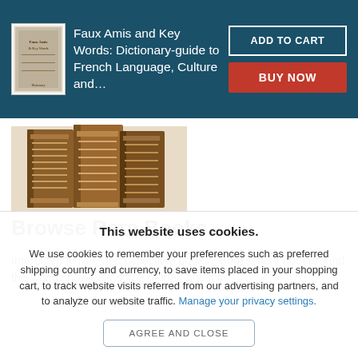Faux Amis and Key Words: Dictionary-guide to French Language, Culture and…
[Figure (photo): Decorative image of antique leather-bound books stacked together]
Browse Rare Books
Interested in rare and collectible books? Booksellers from around the world showcase some of their finest in
This website uses cookies.
We use cookies to remember your preferences such as preferred shipping country and currency, to save items placed in your shopping cart, to track website visits referred from our advertising partners, and to analyze our website traffic. Manage your privacy settings.